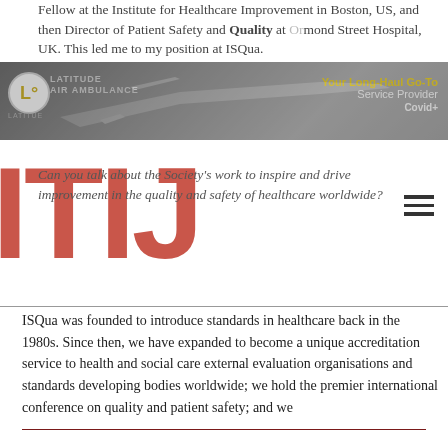Fellow at the Institute for Healthcare Improvement in Boston, US, and then Director of Patient Safety and Quality at Ormond Street Hospital, UK. This led me to my position at ISQua.
[Figure (photo): Advertisement banner for Latitude Air Ambulance showing a jet aircraft with tagline 'Your Long-Haul Go-To Service Provider Covid+']
[Figure (logo): ITIJ large red watermark letters overlaid on the page]
Can you talk about the Society's work to inspire and drive improvement in the quality and safety of healthcare worldwide?
ISQua was founded to introduce standards in healthcare back in the 1980s. Since then, we have expanded to become a unique accreditation service to health and social care external evaluation organisations and standards developing bodies worldwide; we hold the premier international conference on quality and patient safety; and we